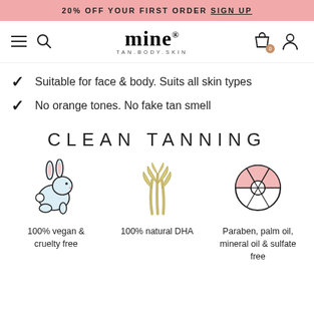20% OFF YOUR FIRST ORDER SIGN UP
[Figure (logo): Mine Tan Body Skin logo with navigation icons]
Suitable for face & body. Suits all skin types
No orange tones. No fake tan smell
CLEAN TANNING
[Figure (illustration): Rabbit illustration - 100% vegan & cruelty free icon]
100% vegan & cruelty free
[Figure (illustration): Sugar cane plant illustration - 100% natural DHA icon]
100% natural DHA
[Figure (illustration): Radiation/paraben free symbol illustration]
Paraben, palm oil, mineral oil & sulfate free